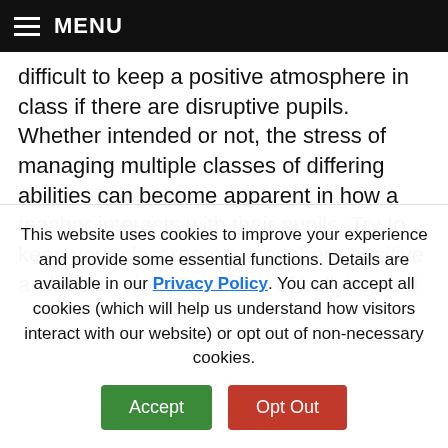MENU
difficult to keep a positive atmosphere in class if there are disruptive pupils. Whether intended or not, the stress of managing multiple classes of differing abilities can become apparent in how a teacher interacts with their pupils. Try to keep your classroom atmosphere positive and welcoming. Be aware of bullying and
This website uses cookies to improve your experience and provide some essential functions. Details are available in our Privacy Policy. You can accept all cookies (which will help us understand how visitors interact with our website) or opt out of non-necessary cookies.
Accept | Opt Out